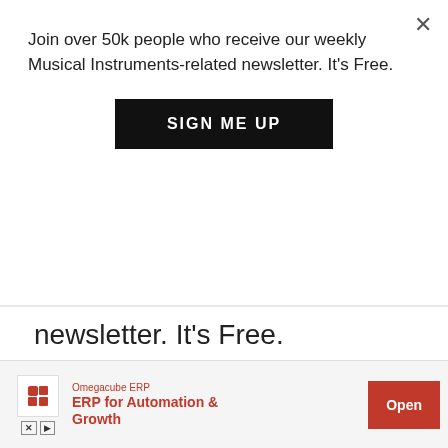Join over 50k people who receive our weekly Musical Instruments-related newsletter. It's Free.
SIGN ME UP
newsletter. It's Free.
* indicates required
Email Address *
We use cookies on our website to give you the most relevant experience by remembering your preferences and repeat visits. By clicking “Accept”, you consent to the use of ALL the cookies.
Do not sell my personal information.
[Figure (screenshot): Advertisement banner for Omegacube ERP showing logo, text 'ERP for Automation & Growth', and an Open button]
Omegacube ERP
ERP for Automation & Growth
Open